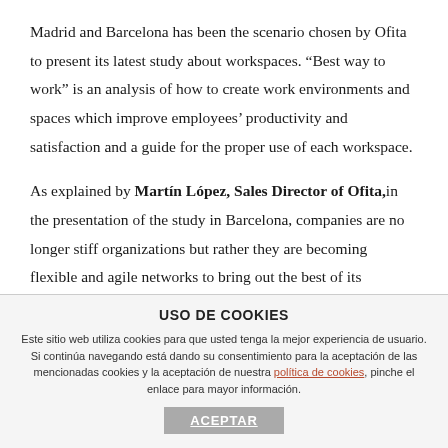Madrid and Barcelona has been the scenario chosen by Ofita to present its latest study about workspaces. “Best way to work” is an analysis of how to create work environments and spaces which improve employees’ productivity and satisfaction and a guide for the proper use of each workspace.
As explained by Martín López, Sales Director of Ofita, in the presentation of the study in Barcelona, companies are no longer stiff organizations but rather they are becoming flexible and agile networks to bring out the best of its employees and respond to new demands. “The difference is that the current revolution has involved in one single
USO DE COOKIES
Este sitio web utiliza cookies para que usted tenga la mejor experiencia de usuario. Si continúa navegando está dando su consentimiento para la aceptación de las mencionadas cookies y la aceptación de nuestra política de cookies, pinche el enlace para mayor información.
ACEPTAR